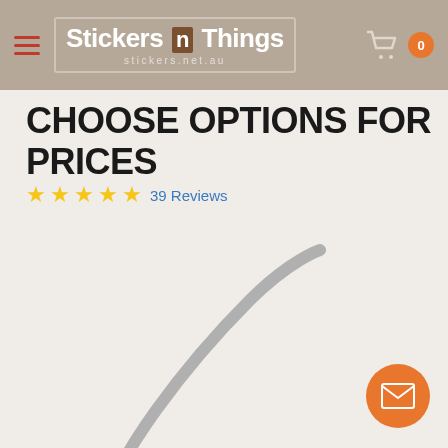Stickers n Things stickers.net.au
CHOOSE OPTIONS FOR PRICES
★★★★★ 39 Reviews
[Figure (illustration): Partial circular arc shape in grey, visible in bottom-left quadrant of the page, representing a product image placeholder or decorative element]
[Figure (illustration): Orange circular chat/email button with envelope icon in bottom-right corner]